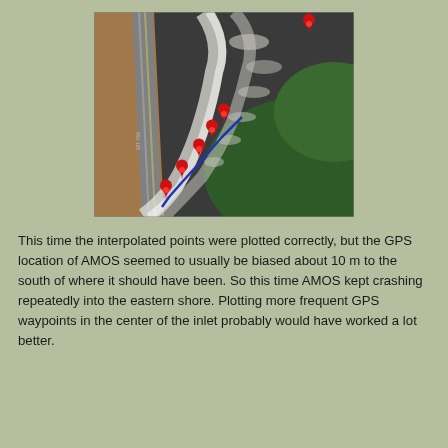[Figure (map): Aerial satellite view of a coastal inlet/shore area showing a road on the left, dark water with white wave patterns, forested land on the right. Multiple red map pin markers are placed along the shoreline, and a blue line traces a path from lower left toward the upper right along the water's edge. A single red pin is visible in the upper right area of the water.]
This time the interpolated points were plotted correctly, but the GPS location of AMOS seemed to usually be biased about 10 m to the south of where it should have been. So this time AMOS kept crashing repeatedly into the eastern shore. Plotting more frequent GPS waypoints in the center of the inlet probably would have worked a lot better.